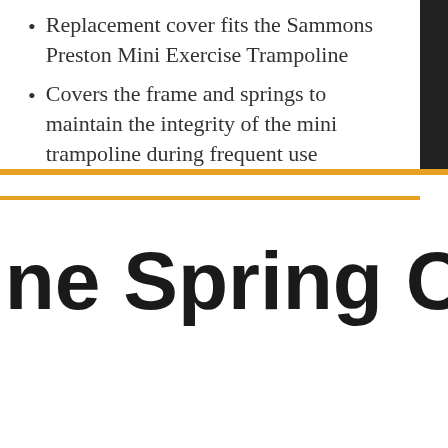Replacement cover fits the Sammons Preston Mini Exercise Trampoline
Covers the frame and springs to maintain the integrity of the mini trampoline during frequent use
ine Spring Covers